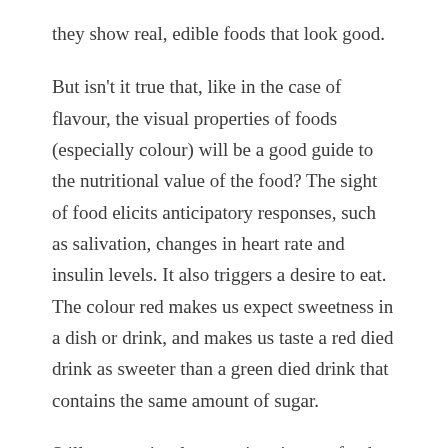they show real, edible foods that look good.
But isn't it true that, like in the case of flavour, the visual properties of foods (especially colour) will be a good guide to the nutritional value of the food? The sight of food elicits anticipatory responses, such as salivation, changes in heart rate and insulin levels. It also triggers a desire to eat. The colour red makes us expect sweetness in a dish or drink, and makes us taste a red died drink as sweeter than a green died drink that contains the same amount of sugar.
Still, many visual properties given to foods during presentation depart from informativeness : they are arbitrary, and their differences tell us no more or no less about the taste and nutritive value of what we eat than, as it were, the number and type of utensils